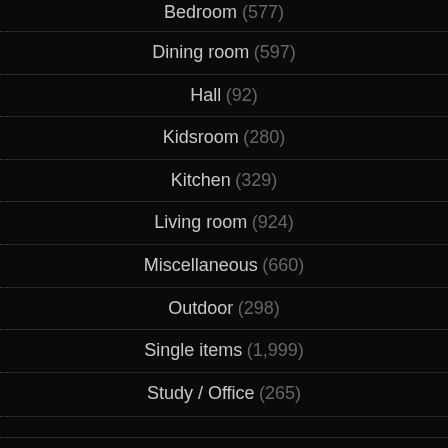Bedroom (577)
Dining room (597)
Hall (92)
Kidsroom (280)
Kitchen (329)
Living room (924)
Miscellaneous (660)
Outdoor (298)
Single items (1,999)
Study / Office (265)
Guides (28)
Hairstyles (12,890)